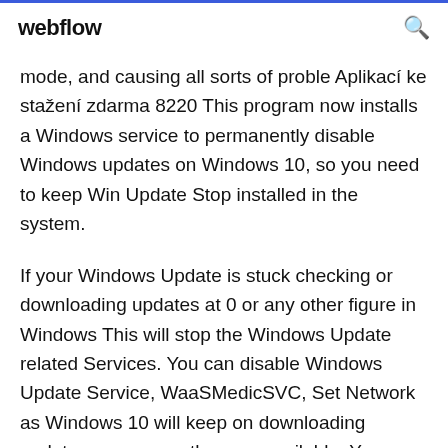webflow
mode, and causing all sorts of proble Aplikací ke stažení zdarma 8220 This program now installs a Windows service to permanently disable Windows updates on Windows 10, so you need to keep Win Update Stop installed in the system.
If your Windows Update is stuck checking or downloading updates at 0 or any other figure in Windows This will stop the Windows Update related Services. You can disable Windows Update Service, WaaSMedicSVC, Set Network as Windows 10 will keep on downloading updates as soon as they are available  You can disable Windows 10 updates by stopping...